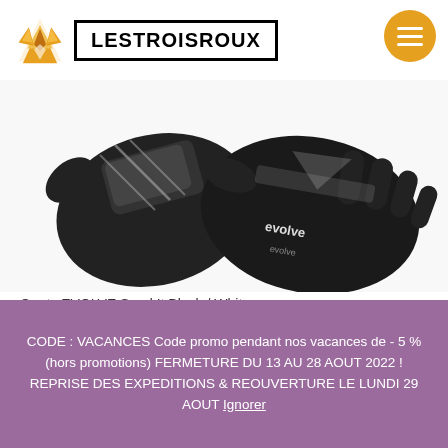[Figure (logo): Fox logo (orange geometric fox) with LESTROISROUX text in bold black border box, and orange hamburger menu circle button top right]
[Figure (photo): Black and white cycling/MTB gloves (EVOLVE brand, Send It model) on white background, showing top-down view]
Gants EVOLVE Send It Black / White
20,83€
CODE : VACANCES Code promo pendant nos vacances de - 5 % (hors promotions) FERMETURE DU 13 AU 28 AOUT 2022 ! REPRISE DES EXPEDITIONS & REOUVERTURE LE LUNDI 29 AOUT Ignorer